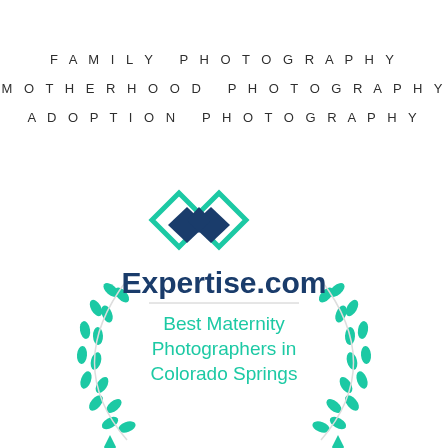FAMILY PHOTOGRAPHY
MOTHERHOOD PHOTOGRAPHY
ADOPTION PHOTOGRAPHY
[Figure (logo): Expertise.com award badge with two overlapping diamond shapes in teal and dark navy blue at top, laurel wreath in teal on sides, Expertise.com text in dark navy, horizontal divider line, and teal text reading 'Best Maternity Photographers in Colorado Springs']